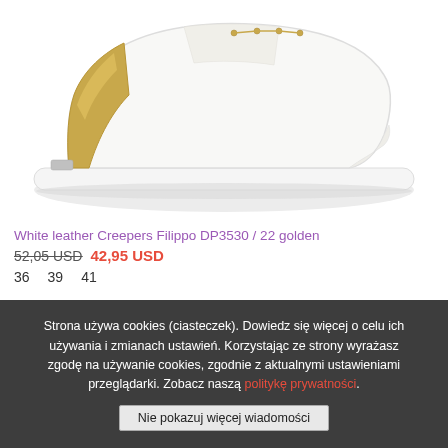[Figure (photo): White leather platform sneaker/creeper shoe with gold metallic accents on the back and gold laces, shown from the side on a white background.]
White leather Creepers Filippo DP3530 / 22 golden
52,05 USD  42,95 USD
36   39   41
Strona używa cookies (ciasteczek). Dowiedz się więcej o celu ich używania i zmianach ustawień. Korzystając ze strony wyrażasz zgodę na używanie cookies, zgodnie z aktualnymi ustawieniami przeglądarki. Zobacz naszą politykę prywatności.
Nie pokazuj więcej wiadomości